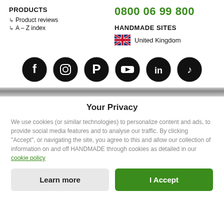PRODUCTS
Product reviews
A – Z index
0800 06 99 800
HANDMADE SITES
United Kingdom
[Figure (other): Social media icons row: Facebook, Instagram, Pinterest, YouTube, LinkedIn, TikTok]
Your Privacy
We use cookies (or similar technologies) to personalize content and ads, to provide social media features and to analyse our traffic. By clicking "Accept", or navigating the site, you agree to this and allow our collection of information on and off HANDMADE through cookies as detailed in our cookie policy
Learn more
I Accept